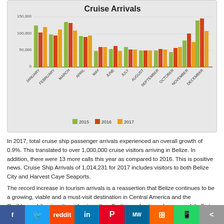[Figure (grouped-bar-chart): Cruise Arrivals]
In 2017, total cruise ship passenger arrivals experienced an overall growth of 0.9%. This translated to over 1,000,000 cruise visitors arriving in Belize. In addition, there were 13 more calls this year as compared to 2016. This is positive news. Cruise Ship Arrivals of 1,014,231 for 2017 includes visitors to both Belize City and Harvest Caye Seaports.
The record increase in tourism arrivals is a reassertion that Belize continues to be a growing, viable and a must-visit destination in Central America and the Caribbean. Likewise, it emphasizes the effective and extremely successful efforts of the Belize Tourism Board to market Belize